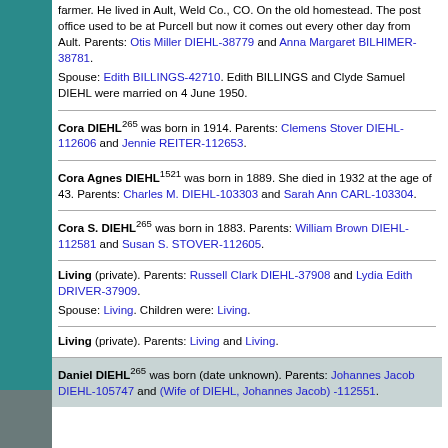farmer. He lived in Ault, Weld Co., CO. On the old homestead. The post office used to be at Purcell but now it comes out every other day from Ault. Parents: Otis Miller DIEHL-38779 and Anna Margaret BILHIMER-38781. Spouse: Edith BILLINGS-42710. Edith BILLINGS and Clyde Samuel DIEHL were married on 4 June 1950.
Cora DIEHL[265] was born in 1914. Parents: Clemens Stover DIEHL-112606 and Jennie REITER-112653.
Cora Agnes DIEHL[1521] was born in 1889. She died in 1932 at the age of 43. Parents: Charles M. DIEHL-103303 and Sarah Ann CARL-103304.
Cora S. DIEHL[265] was born in 1883. Parents: William Brown DIEHL-112581 and Susan S. STOVER-112605.
Living (private). Parents: Russell Clark DIEHL-37908 and Lydia Edith DRIVER-37909. Spouse: Living. Children were: Living.
Living (private). Parents: Living and Living.
Daniel DIEHL[265] was born (date unknown). Parents: Johannes Jacob DIEHL-105747 and (Wife of DIEHL, Johannes Jacob) -112551.